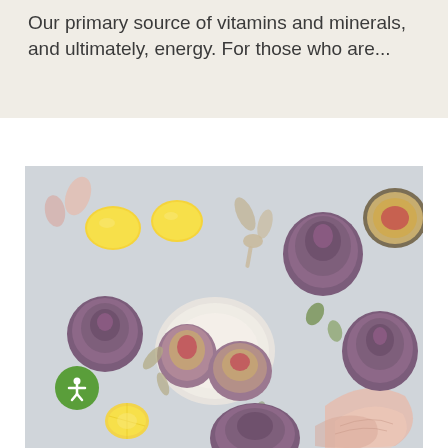Our primary source of vitamins and minerals, and ultimately, energy. For those who are...
[Figure (photo): Overhead flat-lay photo of artichokes and lemons arranged on a light grey surface, with a white plate, a small spoon, and scattered artichoke leaves and pink cabbage leaves. A green accessibility icon button is visible in the lower left corner.]